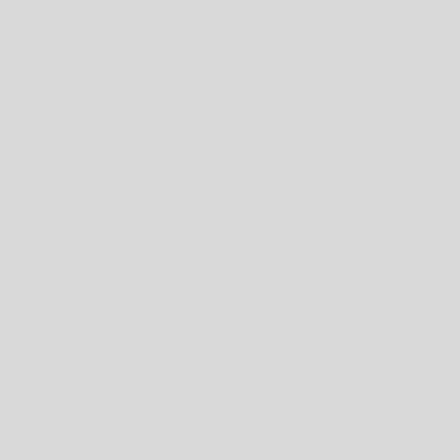Band of E
Evelyn finally go star schedules). World Tour.
[Figure (photo): Black and white photograph of a young girl with long flowing hair, sitting on what appears to be a couch or sofa, with framed pictures on a dark wood-paneled wall in the background.]